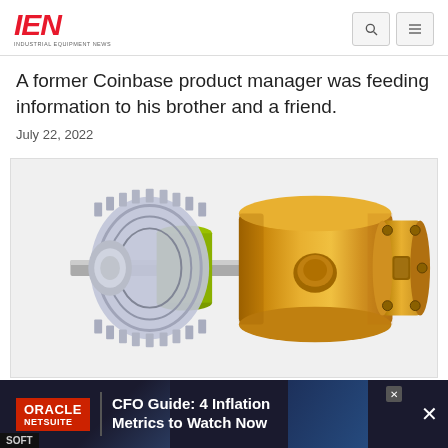IEN INDUSTRIAL EQUIPMENT NEWS
A former Coinbase product manager was feeding information to his brother and a friend.
July 22, 2022
[Figure (engineering-diagram): 3D CAD rendering of a mechanical assembly showing a gold/brass cylindrical component (likely a hydraulic or pneumatic actuator) alongside a silver/grey gearbox or bearing housing with a green sleeve/collar and metallic shaft]
ORACLE NETSUITE | CFO Guide: 4 Inflation Metrics to Watch Now